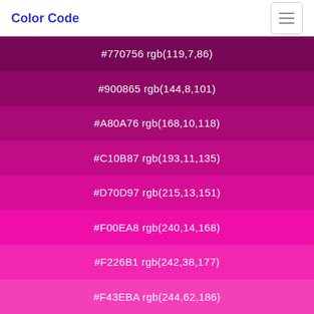Color Code
#770756 rgb(119,7,86)
#900865 rgb(144,8,101)
#A80A76 rgb(168,10,118)
#C10B87 rgb(193,11,135)
#D70D97 rgb(215,13,151)
#F00EA8 rgb(240,14,168)
#F226B1 rgb(242,38,177)
#F43EBA rgb(244,62,186)